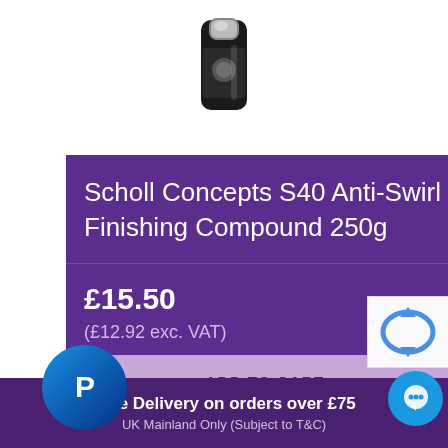[Figure (photo): Product photo of Scholl Concepts S40 bottle, black container with chrome cap, partially cropped at top]
Scholl Concepts S40 Anti-Swirl Finishing Compound 250g
£15.50
(£12.92 exc. VAT)
ADD TO CART
[Figure (logo): PayPal circular blue logo icon]
[Figure (logo): reCAPTCHA logo partially visible]
[Figure (logo): Blue chat bubble circle icon]
Free Delivery on orders over £75
UK Mainland Only (Subject to T&C)